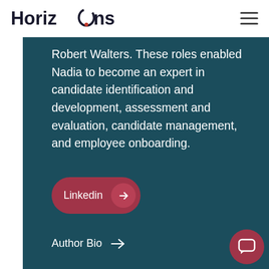Horizons
Robert Walters. These roles enabled Nadia to become an expert in candidate identification and development, assessment and evaluation, candidate management, and employee onboarding.
Linkedin →
Author Bio →